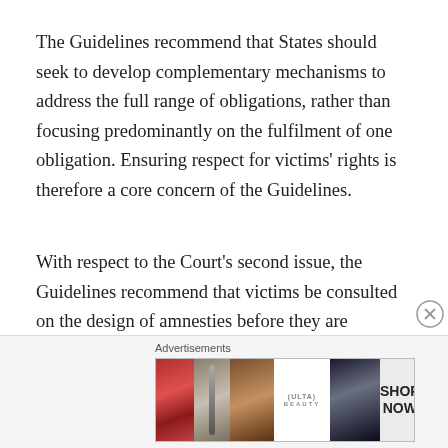The Guidelines recommend that States should seek to develop complementary mechanisms to address the full range of obligations, rather than focusing predominantly on the fulfilment of one obligation. Ensuring respect for victims' rights is therefore a core concern of the Guidelines.
With respect to the Court's second issue, the Guidelines recommend that victims be consulted on the design of amnesties before they are enacted. They also state that victims should be able to participate in decisions to grant or recommend amnesty and they recommend a number of measures to safeguard the interests of victims.
[Figure (other): Advertisement banner for ULTA beauty products showing images of lips, makeup brush, eye with makeup, ULTA logo, eye with makeup, and SHOP NOW text]